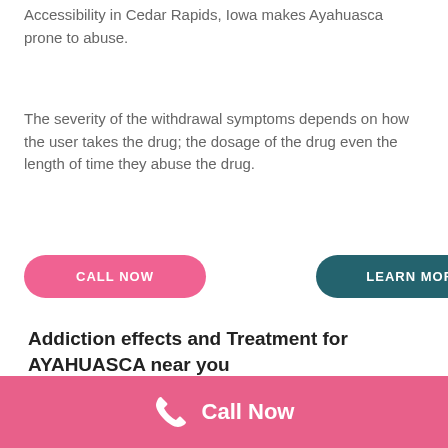Accessibility in Cedar Rapids, Iowa makes Ayahuasca prone to abuse.
The severity of the withdrawal symptoms depends on how the user takes the drug; the dosage of the drug even the length of time they abuse the drug.
[Figure (other): Two buttons: 'CALL NOW' (pink/rounded) and 'LEARN MORE' (dark teal/rounded)]
Addiction effects and Treatment for AYAHUASCA near you
Call Now